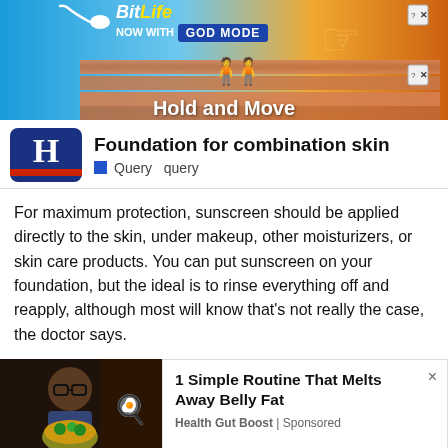[Figure (screenshot): BitLife game advertisement banner with 'NOW WITH GOD MODE' text and cartoon hand pointing, 'Hold and Move' text on gradient background]
[Figure (logo): How logo - dark blue rounded rectangle with white H letter and red underline]
Foundation for combination skin
Query  query
For maximum protection, sunscreen should be applied directly to the skin, under makeup, other moisturizers, or skin care products. You can put sunscreen on your foundation, but the ideal is to rinse everything off and reapply, although most will know that's not really the case, the doctor says.
[Figure (photo): Person with glasses holding a bowl of food, advertisement photo]
1 Simple Routine That Melts Away Belly Fat
Health Gut Boost | Sponsored
[Figure (screenshot): BitLife REAL CHOICES bottom advertisement banner with emoji characters]